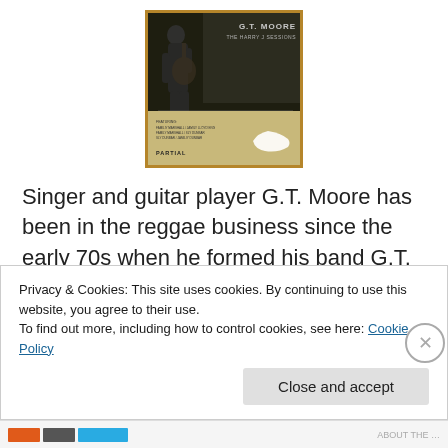[Figure (photo): Album cover for G.T. Moore - The Harry J Sessions. Dark background with a silhouette of a guitarist on the left, text 'G.T. MOORE' and 'THE HARRY J SESSIONS' in upper right, beige/gold bottom section with small print credits and 'PARTIAL' label, and a white outline of the island of Jamaica at bottom right.]
Singer and guitar player G.T. Moore has been in the reggae business since the early 70s when he formed his band G.T. Moore & The Reggae Guitars. He has recently discovered a bunch of tracks he recorded in 1980 at Harry
Privacy & Cookies: This site uses cookies. By continuing to use this website, you agree to their use.
To find out more, including how to control cookies, see here: Cookie Policy
Close and accept